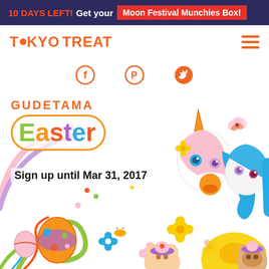10 DAYS LEFT! Get your Moon Festival Munchies Box!
[Figure (logo): TokyoTreat logo with orange dot replacing O, hamburger menu icon in orange]
[Figure (illustration): Social media icons row: Facebook, Pinterest, Twitter in orange]
[Figure (illustration): Gudetama Easter themed illustration with anime unicorn characters, Gudetama egg characters, colorful flowers and decorative elements. Text overlay: GUDETAMA Easter. Sign up until Mar 31, 2017]